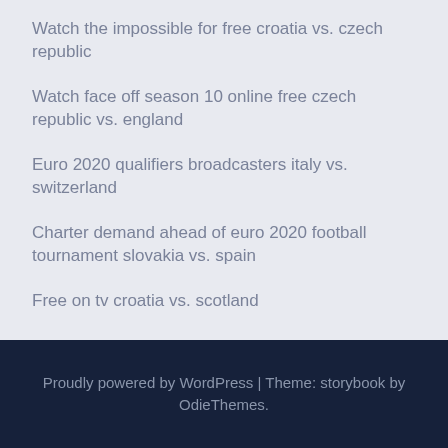Watch the impossible for free croatia vs. czech republic
Watch face off season 10 online free czech republic vs. england
Euro 2020 qualifiers broadcasters italy vs. switzerland
Charter demand ahead of euro 2020 football tournament slovakia vs. spain
Free on tv croatia vs. scotland
Proudly powered by WordPress | Theme: storybook by OdieThemes.